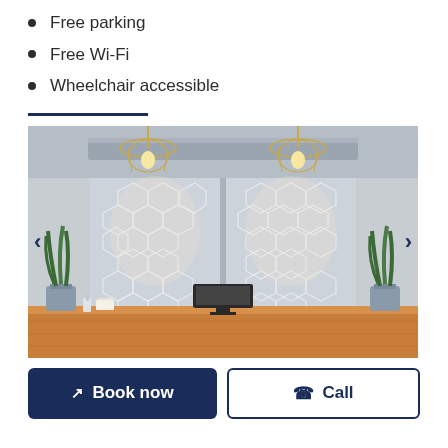Free parking
Free Wi-Fi
Wheelchair accessible
[Figure (photo): Interior of a modern office reception area showing a wooden front desk, a decorative geometric hexagon-patterned wall panel lit by hanging Edison-style pendant lights in gold wire cage fixtures, a monitor on the desk, and potted snake plants on either side.]
Book now
Call